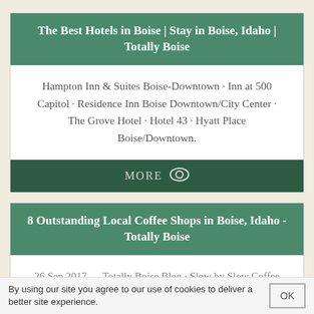The Best Hotels in Boise | Stay in Boise, Idaho | Totally Boise
Hampton Inn & Suites Boise-Downtown · Inn at 500 Capitol · Residence Inn Boise Downtown/City Center · The Grove Hotel · Hotel 43 · Hyatt Place Boise/Downtown.
MORE
8 Outstanding Local Coffee Shops in Boise, Idaho - Totally Boise
26 Sep 2017 — Totally Boise Blog · Slow by Slow Coffee
By using our site you agree to our use of cookies to deliver a better site experience.